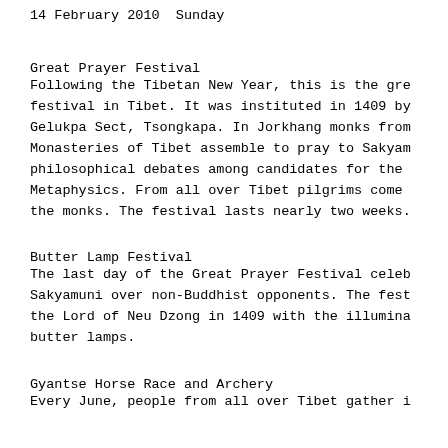14 February 2010  Sunday
Great Prayer Festival
Following the Tibetan New Year, this is the gre festival in Tibet. It was instituted in 1409 by Gelukpa Sect, Tsongkapa. In Jorkhang monks from Monasteries of Tibet assemble to pray to Sakyam philosophical debates among candidates for the Metaphysics. From all over Tibet pilgrims come the monks. The festival lasts nearly two weeks.
Butter Lamp Festival
The last day of the Great Prayer Festival celeb Sakyamuni over non-Buddhist opponents. The fest the Lord of Neu Dzong in 1409 with the illumina butter lamps.
Gyantse Horse Race and Archery
Every June, people from all over Tibet gather i